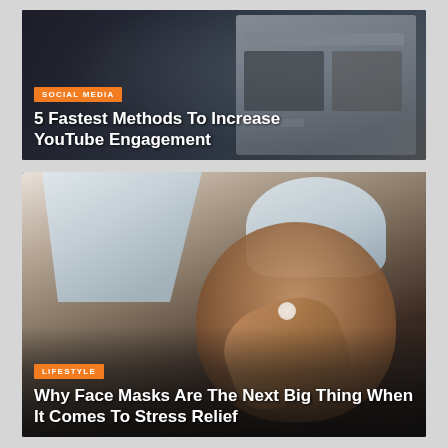[Figure (photo): Blurred screenshot of YouTube/social media interface on a dark background]
SOCIAL MEDIA
5 Fastest Methods To Increase YouTube Engagement
[Figure (photo): Young woman with white towel on head applying face cream/mask, looking upward, dark background]
LIFESTYLE
Why Face Masks Are The Next Big Thing When It Comes To Stress Relief